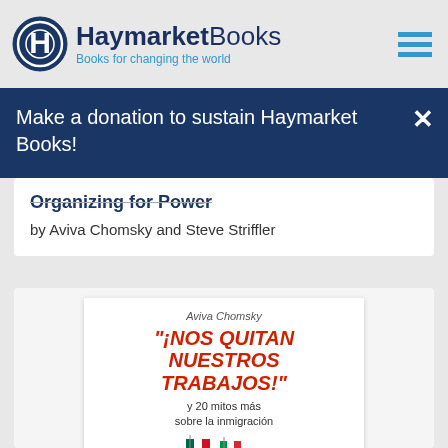Haymarket Books — Books for changing the world
Make a donation to sustain Haymarket Books!
Organizing for Power
by Aviva Chomsky and Steve Striffler
[Figure (illustration): Book cover of '¡Nos quitan nuestros trabajos!' by Aviva Chomsky showing title in red bold italic text with Mexican flags at bottom and subtitle 'y 20 mitos más sobre la inmigración']